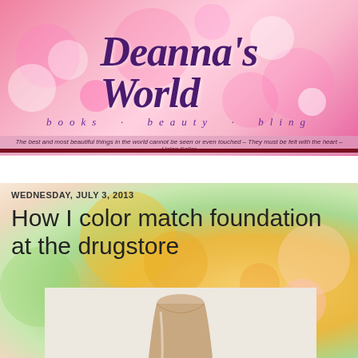[Figure (screenshot): Deanna's World blog header banner with pink bokeh background, decorative script logo text 'Deanna's World' in purple, subtitle 'books · beauty · bling', and tagline quote from Helen Keller]
Deanna's World · books · beauty · bling · The best and most beautiful things in the world cannot be seen or even touched – They must be felt with the heart – Helen Keller
Home
WEDNESDAY, JULY 3, 2013
How I color match foundation at the drugstore
[Figure (photo): Close-up photo of a foundation or makeup bottle/container in beige/nude tone against a light background]